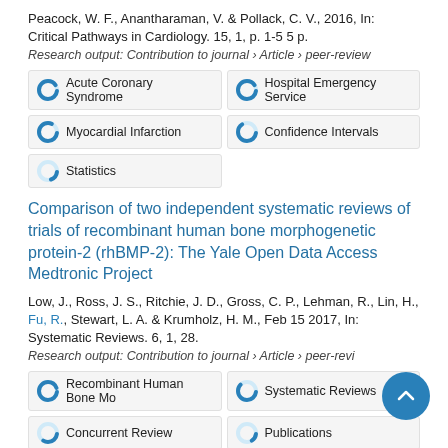Peacock, W. F., Anantharaman, V. & Pollack, C. V., 2016, In: Critical Pathways in Cardiology. 15, 1, p. 1-5 5 p.
Research output: Contribution to journal › Article › peer-review
Acute Coronary Syndrome
Hospital Emergency Service
Myocardial Infarction
Confidence Intervals
Statistics
Comparison of two independent systematic reviews of trials of recombinant human bone morphogenetic protein-2 (rhBMP-2): The Yale Open Data Access Medtronic Project
Low, J., Ross, J. S., Ritchie, J. D., Gross, C. P., Lehman, R., Lin, H., Fu, R., Stewart, L. A. & Krumholz, H. M., Feb 15 2017, In: Systematic Reviews. 6, 1, 28.
Research output: Contribution to journal › Article › peer-review
Recombinant Human Bone Mo
Systematic Reviews
Concurrent Review
Publications